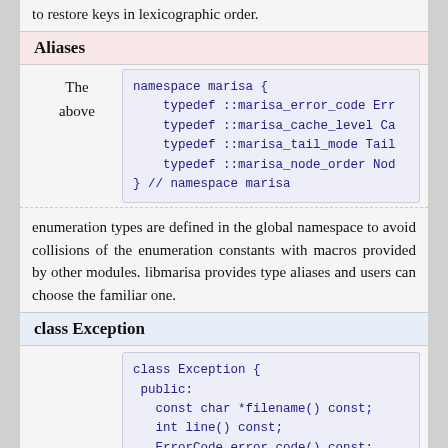to restore keys in lexicographic order.
Aliases
The above
[Figure (screenshot): Code block showing namespace marisa with typedef aliases for error code, cache level, tail mode, and node order]
enumeration types are defined in the global namespace to avoid collisions of the enumeration constants with macros provided by other modules. libmarisa provides type aliases and users can choose the familiar one.
class Exception
[Figure (screenshot): Code block showing class Exception with public members: filename(), line(), error_code(), error_message() const, what() const]